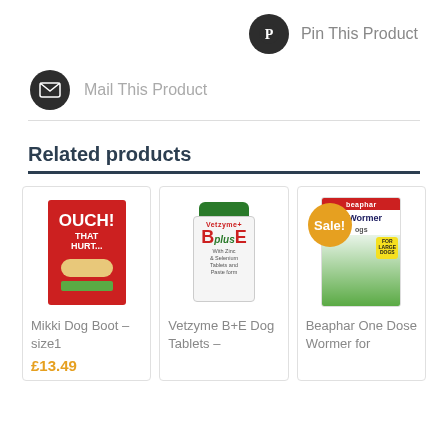[Figure (other): Pinterest share button with dark circle icon and 'Pin This Product' text]
[Figure (other): Mail share button with dark circle envelope icon and 'Mail This Product' text]
Related products
[Figure (other): Product card: Mikki Dog Boot - size1, red book-style packaging with OUCH THAT HURT text. Price £13.49]
[Figure (other): Product card: Vetzyme B+E Dog Tablets - white supplement bottle with green lid. Price not shown.]
[Figure (other): Product card: Beaphar One Dose Wormer for Dogs - product box with dog image, Sale! badge overlay.]